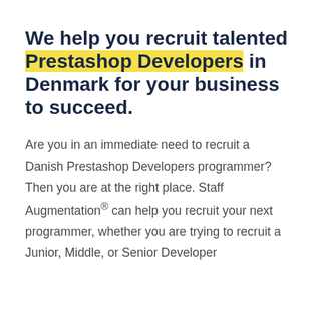We help you recruit talented Prestashop Developers in Denmark for your business to succeed.
Are you in an immediate need to recruit a Danish Prestashop Developers programmer? Then you are at the right place. Staff Augmentation® can help you recruit your next programmer, whether you are trying to recruit a Junior, Middle, or Senior Developer